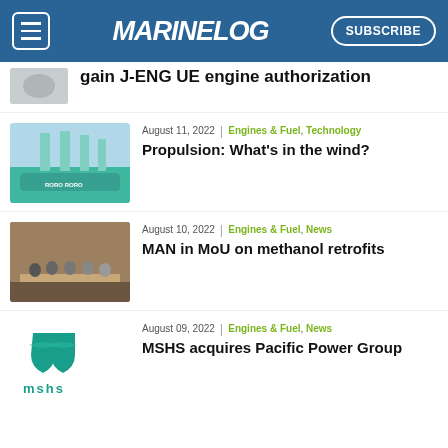MARINELOG — SUBSCRIBE
gain J-ENG UE engine authorization
August 11, 2022 | Engines & Fuel, Technology
Propulsion: What's in the wind?
August 10, 2022 | Engines & Fuel, News
MAN in MoU on methanol retrofits
August 09, 2022 | Engines & Fuel, News
MSHS acquires Pacific Power Group